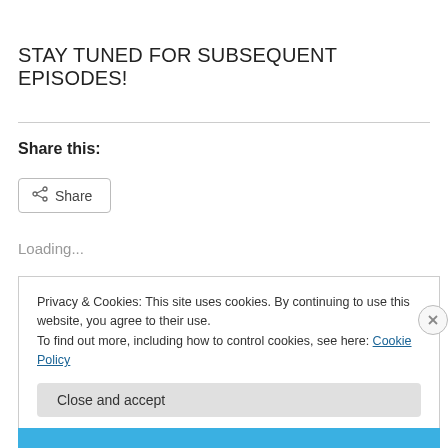STAY TUNED FOR SUBSEQUENT EPISODES!
Share this:
Share
Loading...
Privacy & Cookies: This site uses cookies. By continuing to use this website, you agree to their use.
To find out more, including how to control cookies, see here: Cookie Policy
Close and accept